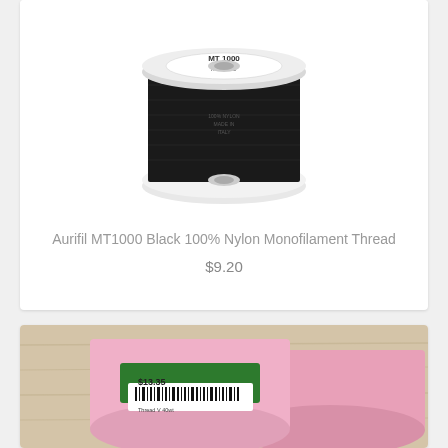[Figure (photo): Spool of Aurifil MT1000 Black 100% Nylon Monofilament Thread on white spool with white background]
Aurifil MT1000 Black 100% Nylon Monofilament Thread
$9.20
[Figure (photo): Two pink thread spools with green labels showing barcode and price tag $13.35, on a light wooden surface]